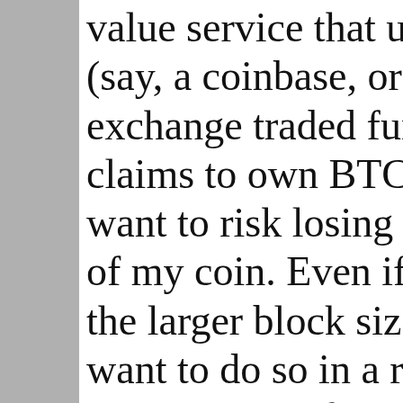value service that us (say, a coinbase, or a exchange traded fun claims to own BTC) want to risk losing a of my coin. Even if the larger block size want to do so in a ri just in case. Of cour "risk-averse" implem gigaBTC ended up n whole lot of transac tally. I'm in it...